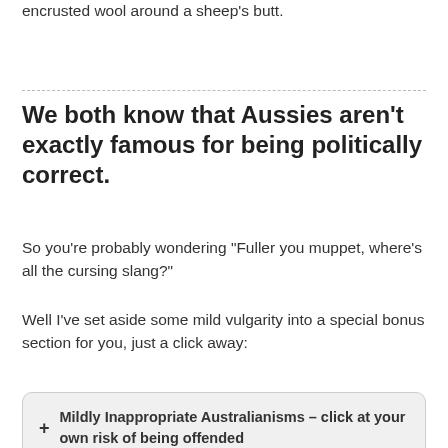encrusted wool around a sheep’s butt.
We both know that Aussies aren’t exactly famous for being politically correct.
So you’re probably wondering “Fuller you muppet, where’s all the cursing slang?”
Well I’ve set aside some mild vulgarity into a special bonus section for you, just a click away:
+ Mildly Inappropriate Australianisms – click at your own risk of being offended